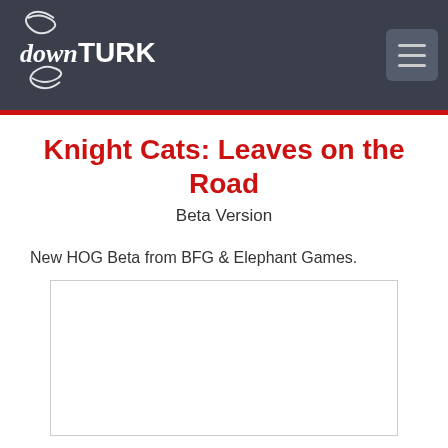downTURK
Knight Cats: Leaves on the Road
Beta Version
New HOG Beta from BFG & Elephant Games.
[Figure (other): Empty advertisement placeholder box with light gray border]